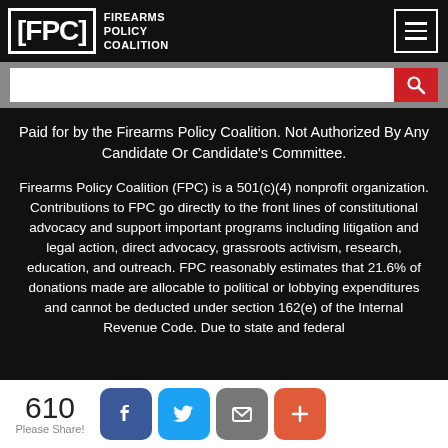FPC FIREARMS POLICY COALITION [header with hamburger menu]
Paid for by the Firearms Policy Coalition. Not Authorized By Any Candidate Or Candidate's Committee.
Firearms Policy Coalition (FPC) is a 501(c)(4) nonprofit organization. Contributions to FPC go directly to the front lines of constitutional advocacy and support important programs including litigation and legal action, direct advocacy, grassroots activism, research, education, and outreach. FPC reasonably estimates that 21.6% of donations made are allocable to political or lobbying expenditures and cannot be deducted under section 162(e) of the Internal Revenue Code. Due to state and federal
610 Please Share! [Facebook] [Twitter] [Email] [+]